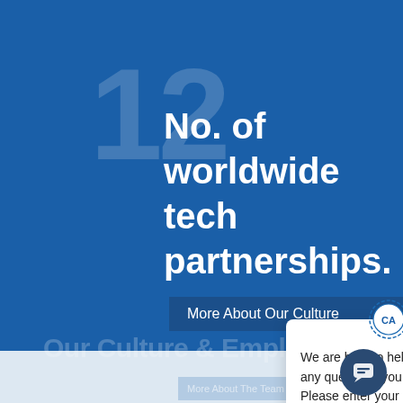[Figure (screenshot): Blue background section of a website page showing '12' in large faint watermark text behind the heading 'No. of worldwide tech partnerships.']
No. of worldwide tech partnerships.
More About Our Culture
[Figure (screenshot): Chat popup overlay with CA circular logo icon, X close button, and message: 'We are here to help answer any questions you have. Please enter your name and company name to get started.']
We are here to help answer any questions you have. Please enter your name and company name to get started.
Our Culture & Employees
More About The Team